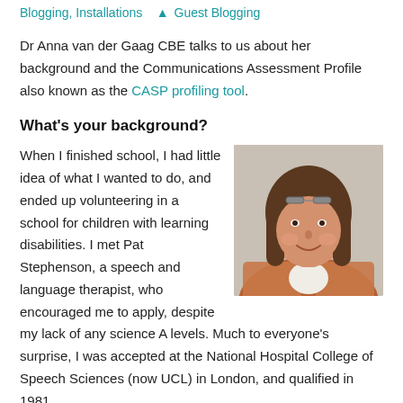Blogging, Installations  ▴ Guest Blogging
Dr Anna van der Gaag CBE talks to us about her background and the Communications Assessment Profile also known as the CASP profiling tool.
What’s your background?
When I finished school, I had little idea of what I wanted to do, and ended up volunteering in a school for children with learning disabilities. I met Pat Stephenson, a speech and language therapist, who encouraged me to apply, despite my lack of any science A levels. Much to everyone’s surprise, I was accepted at the National Hospital College of Speech Sciences (now UCL) in London, and qualified in 1981.
[Figure (photo): Portrait photo of Dr Anna van der Gaag CBE, a woman with brown shoulder-length hair wearing glasses on top of her head and a colourful jacket, smiling.]